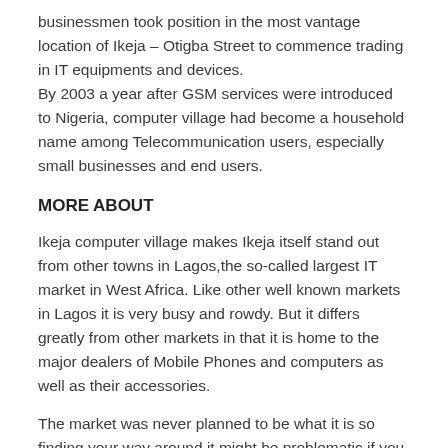businessmen took position in the most vantage location of Ikeja – Otigba Street to commence trading in IT equipments and devices.
By 2003 a year after GSM services were introduced to Nigeria, computer village had become a household name among Telecommunication users, especially small businesses and end users.
MORE ABOUT
Ikeja computer village makes Ikeja itself stand out from other towns in Lagos,the so-called largest IT market in West Africa. Like other well known markets in Lagos it is very busy and rowdy. But it differs greatly from other markets in that it is home to the major dealers of Mobile Phones and computers as well as their accessories.
The market was never planned to be what it is so finding your way around it might be problematic if you are a first time visitor.
However the right people to buy from usually own larger sized